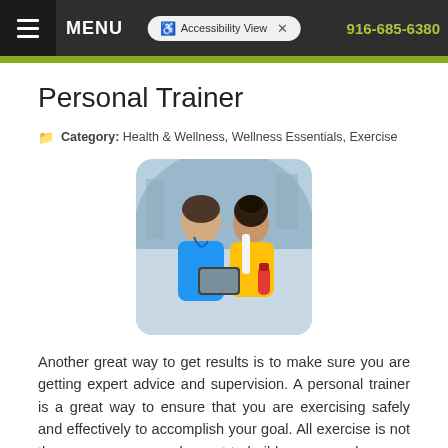MENU  Accessibility View  916-685-6380
Personal Trainer
Category: Health & Wellness, Wellness Essentials, Exercise
[Figure (photo): A male personal trainer in a blue shirt looking at a tablet with a female client in a yellow top with a white towel and red water bottle, in a gym setting.]
Another great way to get results is to make sure you are getting expert advice and supervision. A personal trainer is a great way to ensure that you are exercising safely and effectively to accomplish your goal. All exercise is not the same; some people want to build more muscle mass, some people want
Read more